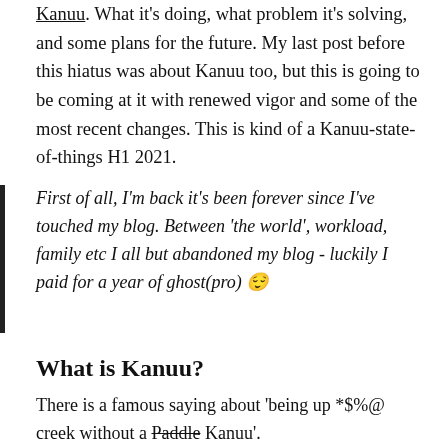Kanuu. What it's doing, what problem it's solving, and some plans for the future. My last post before this hiatus was about Kanuu too, but this is going to be coming at it with renewed vigor and some of the most recent changes. This is kind of a Kanuu-state-of-things H1 2021.
First of all, I'm back it's been forever since I've touched my blog. Between 'the world', workload, family etc I all but abandoned my blog - luckily I paid for a year of ghost(pro) 😌
What is Kanuu?
There is a famous saying about 'being up *$%@ creek without a Paddle Kanuu'.
I'm sorry I did that. Moving on.